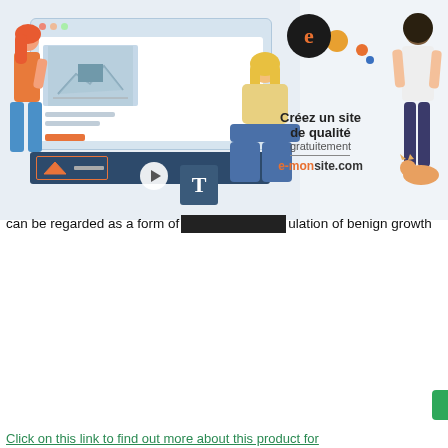[Figure (screenshot): Advertisement banner for e-monsite.com website builder showing browser mockup with people figures, text 'Créez un site de qualité gratuitement e-monsite.com']
can be regarded as a form of [REDACTED] ulation of benign growth
[Figure (screenshot): Cookie consent modal dialog with title 'Managing cookies', body text about africandoctor.net depositing cookies, privacy policy link, and three buttons: Refuse, Settings, Accept]
Click on this link to find out more about this product for